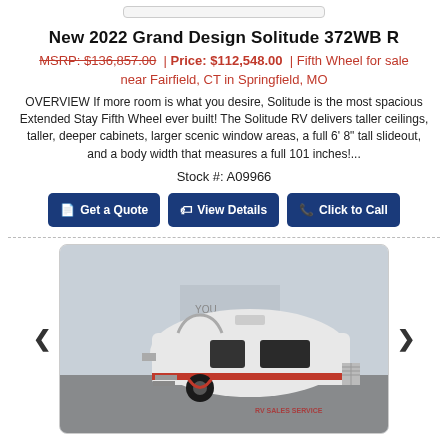New 2022 Grand Design Solitude 372WB R
MSRP: $136,857.00 | Price: $112,548.00 | Fifth Wheel for sale near Fairfield, CT in Springfield, MO
OVERVIEW If more room is what you desire, Solitude is the most spacious Extended Stay Fifth Wheel ever built! The Solitude RV delivers taller ceilings, taller, deeper cabinets, larger scenic window areas, a full 6' 8" tall slideout, and a body width that measures a full 101 inches!...
Stock #: A09966
Get a Quote | View Details | Click to Call
[Figure (photo): Photo of a small white travel trailer/teardrop camper with red trim, parked in a lot. Navigation arrows on left and right sides.]